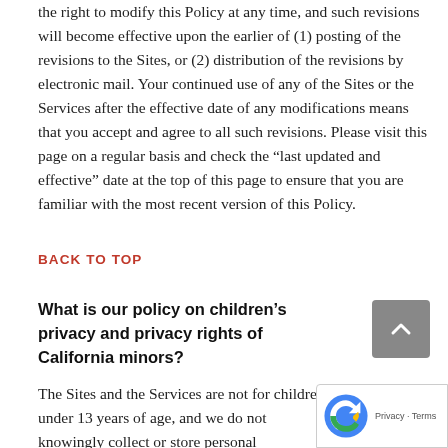the right to modify this Policy at any time, and such revisions will become effective upon the earlier of (1) posting of the revisions to the Sites, or (2) distribution of the revisions by electronic mail. Your continued use of any of the Sites or the Services after the effective date of any modifications means that you accept and agree to all such revisions. Please visit this page on a regular basis and check the “last updated and effective” date at the top of this page to ensure that you are familiar with the most recent version of this Policy.
BACK TO TOP
What is our policy on children’s privacy and privacy rights of California minors?
The Sites and the Services are not for children under 13 years of age, and we do not knowingly collect or store personal information from users of the Sites or the Services who are under 13 years of age. No personal